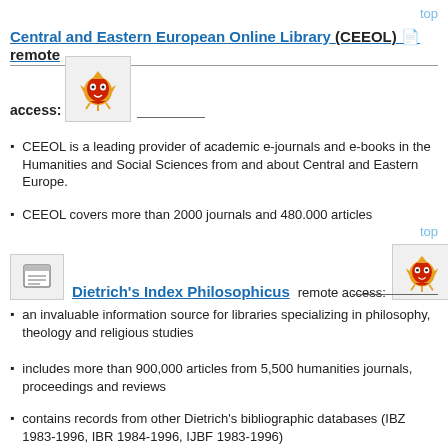top
Central and Eastern European Online Library (CEEOL) 📄 remote
[Figure (logo): CEEOL dragon mascot logo in red/orange on grey background]
access:
CEEOL is a leading provider of academic e-journals and e-books in the Humanities and Social Sciences from and about Central and Eastern Europe.
CEEOL covers more than 2000 journals and 480.000 articles
top
[Figure (logo): Document/page icon for Dietrich's Index Philosophicus]
Dietrich's Index Philosophicus
remote access:
[Figure (logo): Dragon mascot logo for remote access]
an invaluable information source for libraries specializing in philosophy, theology and religious studies
includes more than 900,000 articles from 5,500 humanities journals, proceedings and reviews
contains records from other Dietrich's bibliographic databases (IBZ 1983-1996, IBR 1984-1996, IJBF 1983-1996)